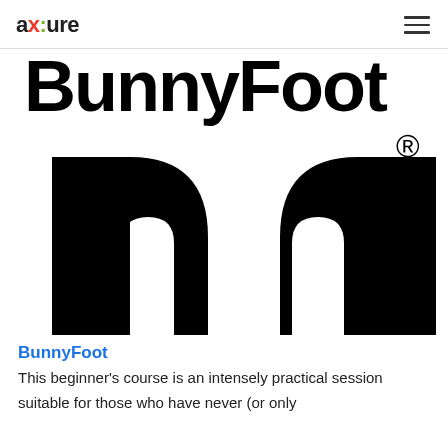axure
[Figure (logo): BunnyFoot logo — large black stylized lowercase letter 'm' with rounded arches on white background, with registered trademark symbol top right. Top portion shows 'BunnyFoot' text in large bold black font partially cropped.]
BunnyFoot
This beginner's course is an intensely practical session suitable for those who have never (or only